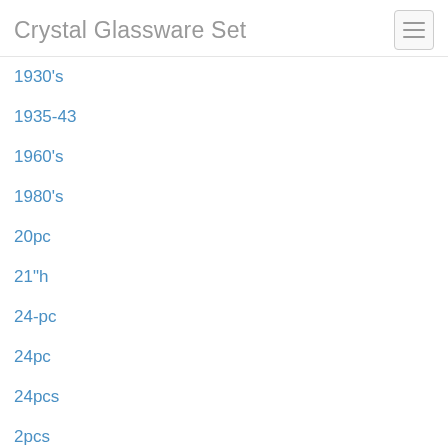Crystal Glassware Set
1930's
1935-43
1960's
1980's
20pc
21"h
24-pc
24pc
24pcs
2pcs
51-pc
65pc